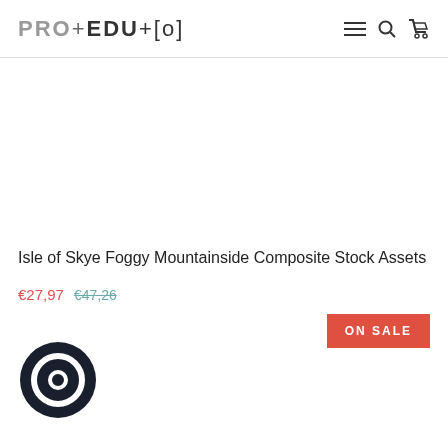PRO+EDU[o]
Isle of Skye Foggy Mountainside Composite Stock Assets
€27,97  €47,26
ON SALE
[Figure (logo): Circular dark logo mark at bottom left]